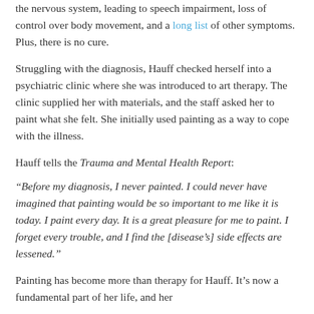the nervous system, leading to speech impairment, loss of control over body movement, and a long list of other symptoms. Plus, there is no cure.
Struggling with the diagnosis, Hauff checked herself into a psychiatric clinic where she was introduced to art therapy. The clinic supplied her with materials, and the staff asked her to paint what she felt. She initially used painting as a way to cope with the illness.
Hauff tells the Trauma and Mental Health Report:
“Before my diagnosis, I never painted. I could never have imagined that painting would be so important to me like it is today. I paint every day. It is a great pleasure for me to paint. I forget every trouble, and I find the [disease’s] side effects are lessened.”
Painting has become more than therapy for Hauff. It’s now a fundamental part of her life, and her